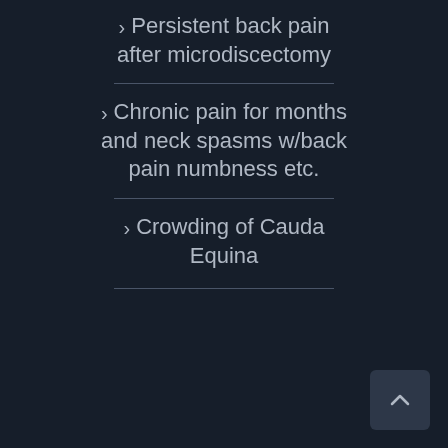Persistent back pain after microdiscectomy
Chronic pain for months and neck spasms w/back pain numbness etc.
Crowding of Cauda Equina